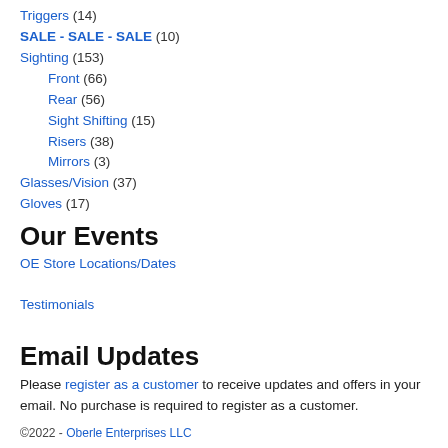Triggers (14)
SALE - SALE - SALE (10)
Sighting (153)
Front (66)
Rear (56)
Sight Shifting (15)
Risers (38)
Mirrors (3)
Glasses/Vision (37)
Gloves (17)
Our Events
OE Store Locations/Dates
Testimonials
Email Updates
Please register as a customer to receive updates and offers in your email. No purchase is required to register as a customer.
©2022 - Oberle Enterprises LLC